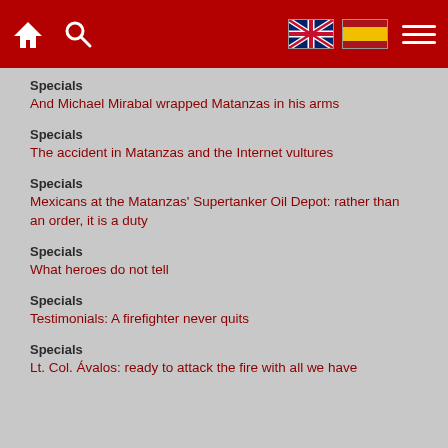Navigation header with home, search, UK flag, Spain flag, and menu icons
Specials
And Michael Mirabal wrapped Matanzas in his arms
Specials
The accident in Matanzas and the Internet vultures
Specials
Mexicans at the Matanzas' Supertanker Oil Depot: rather than an order, it is a duty
Specials
What heroes do not tell
Specials
Testimonials: A firefighter never quits
Specials
Lt. Col. Ávalos: ready to attack the fire with all we have